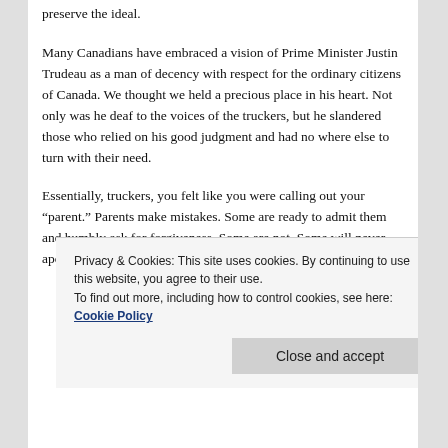preserve the ideal.
Many Canadians have embraced a vision of Prime Minister Justin Trudeau as a man of decency with respect for the ordinary citizens of Canada. We thought we held a precious place in his heart. Not only was he deaf to the voices of the truckers, but he slandered those who relied on his good judgment and had no where else to turn with their need.
Essentially, truckers, you felt like you were calling out your “parent.” Parents make mistakes. Some are ready to admit them and humbly ask for forgiveness. Some are not. Some will never apologize to their children. They see
Privacy & Cookies: This site uses cookies. By continuing to use this website, you agree to their use.
To find out more, including how to control cookies, see here: Cookie Policy
Close and accept